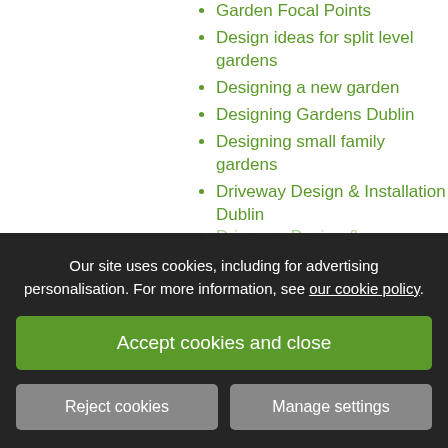Garden Focal Points
Design ideas for split level gardens
Designing a new garden
Designing Gardens Dublin
Designing small family gardens
Driveway Design & Installation Dublin
Driveway Design & Landscaping
Driveway Design & ...
Our site uses cookies, including for advertising personalisation. For more information, see our cookie policy.
Accept cookies and close
Reject cookies
Manage settings